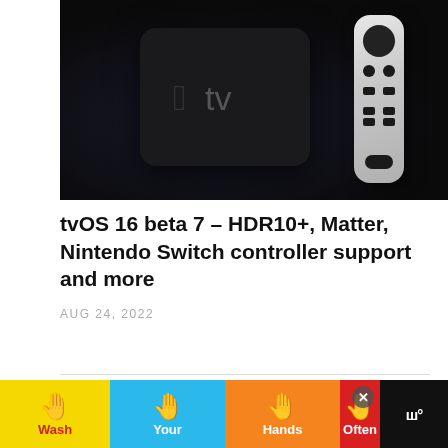[Figure (photo): Apple TV 4K device and Siri Remote against dark background]
tvOS 16 beta 7 – HDR10+, Matter, Nintendo Switch controller support and more
AUG 24, 2022
[Figure (other): Leave a comment button area with comment icon]
[Figure (other): Advertisement banner: Wash Your Hands Often]